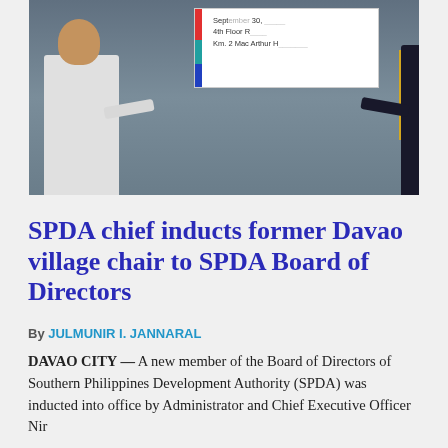[Figure (photo): Two people standing in front of a banner/sign. Person on left wearing white barong, person on right wearing dark jacket. A sign visible in background with text 'September 30,' and address information.]
SPDA chief inducts former Davao village chair to SPDA Board of Directors
By JULMUNIR I. JANNARAL
DAVAO CITY — A new member of the Board of Directors of Southern Philippines Development Authority (SPDA) was inducted into office by Administrator and Chief Executive Officer...